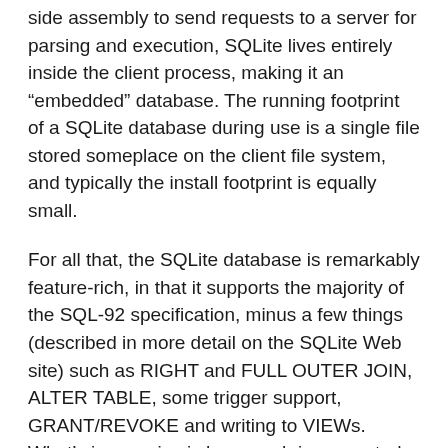side assembly to send requests to a server for parsing and execution, SQLite lives entirely inside the client process, making it an “embedded” database. The running footprint of a SQLite database during use is a single file stored someplace on the client file system, and typically the install footprint is equally small.
For all that, the SQLite database is remarkably feature-rich, in that it supports the majority of the SQL-92 specification, minus a few things (described in more detail on the SQLite Web site) such as RIGHT and FULL OUTER JOIN, ALTER TABLE, some trigger support, GRANT/REVOKE and writing to VIEWs. What’s impressive is how much is supported, including transactions and a wide range of data types. Although it’s probably beyond credibility to expect that a SQL Server database schema will port to SQLite without modification, it’s reasonable to assume that a fairly straightforward (that is, not taking advantage of SQL Server specific types or features) schema will port with